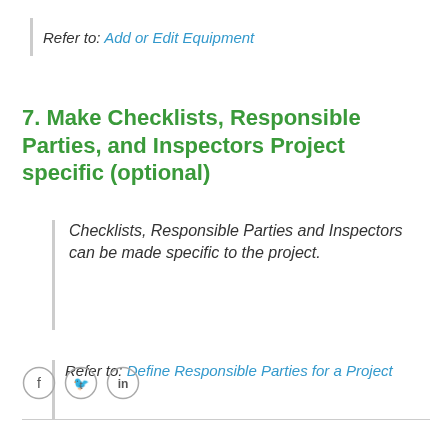Refer to: Add or Edit Equipment
7. Make Checklists, Responsible Parties, and Inspectors Project specific (optional)
Checklists, Responsible Parties and Inspectors can be made specific to the project.
Refer to: Define Responsible Parties for a Project